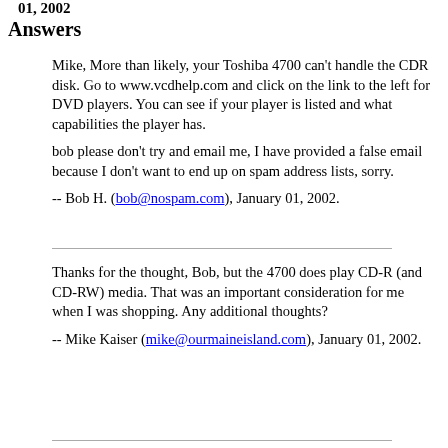01, 2002
Answers
Mike, More than likely, your Toshiba 4700 can't handle the CDR disk. Go to www.vcdhelp.com and click on the link to the left for DVD players. You can see if your player is listed and what capabilities the player has.
bob please don't try and email me, I have provided a false email because I don't want to end up on spam address lists, sorry.
-- Bob H. (bob@nospam.com), January 01, 2002.
Thanks for the thought, Bob, but the 4700 does play CD-R (and CD-RW) media. That was an important consideration for me when I was shopping. Any additional thoughts?
-- Mike Kaiser (mike@ourmaineisland.com), January 01, 2002.